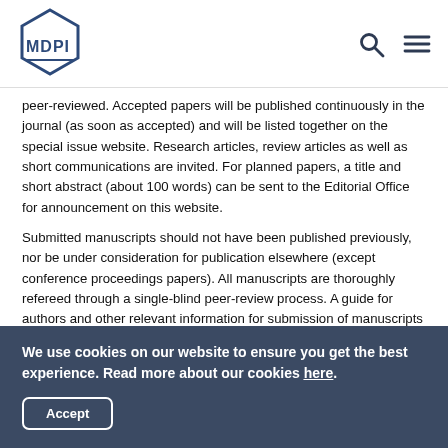MDPI
peer-reviewed. Accepted papers will be published continuously in the journal (as soon as accepted) and will be listed together on the special issue website. Research articles, review articles as well as short communications are invited. For planned papers, a title and short abstract (about 100 words) can be sent to the Editorial Office for announcement on this website.
Submitted manuscripts should not have been published previously, nor be under consideration for publication elsewhere (except conference proceedings papers). All manuscripts are thoroughly refereed through a single-blind peer-review process. A guide for authors and other relevant information for submission of manuscripts is available on the Instructions for Authors page. Electronics is an international peer-
We use cookies on our website to ensure you get the best experience. Read more about our cookies here. Accept